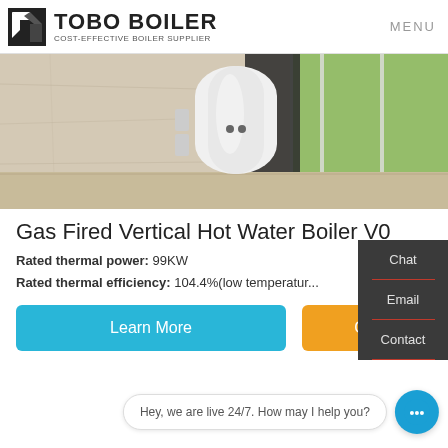[Figure (logo): Tobo Boiler logo with black geometric icon, bold text TOBO BOILER, subtitle COST-EFFECTIVE BOILER SUPPLIER, and MENU navigation link on right]
[Figure (photo): Photo of a white cylindrical vertical hot water boiler in an indoor setting with marble walls and glass doors showing green grass outside]
Gas Fired Vertical Hot Water Boiler V0
Rated thermal power: 99KW
Rated thermal efficiency: 104.4%(low temperatur...
Learn More
Get a quote
Chat
Email
Contact
Hey, we are live 24/7. How may I help you?